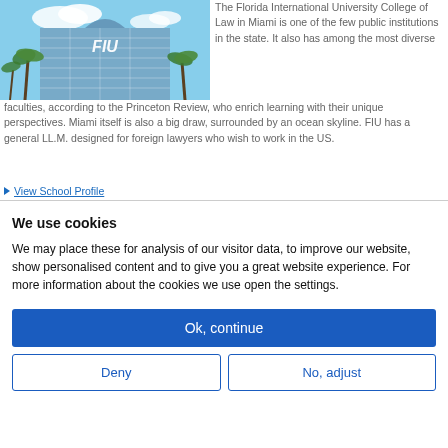[Figure (photo): Photo of FIU (Florida International University) College of Law building exterior with palm trees and blue sky]
The Florida International University College of Law in Miami is one of the few public institutions in the state. It also has among the most diverse faculties, according to the Princeton Review, who enrich learning with their unique perspectives. Miami itself is also a big draw, surrounded by an ocean skyline. FIU has a general LL.M. designed for foreign lawyers who wish to work in the US.
▶ View School Profile
We use cookies
We may place these for analysis of our visitor data, to improve our website, show personalised content and to give you a great website experience. For more information about the cookies we use open the settings.
Ok, continue
Deny
No, adjust